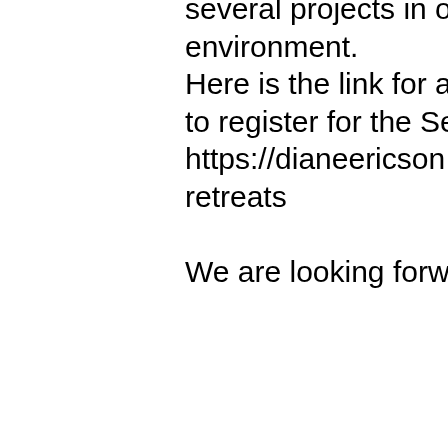may want to work on several projects in our relaxed studio environment. Here is the link for additional information and to register for the September DOL Retreat: https://dianeericson.com/outside-the-lines-retreats

We are looking forward